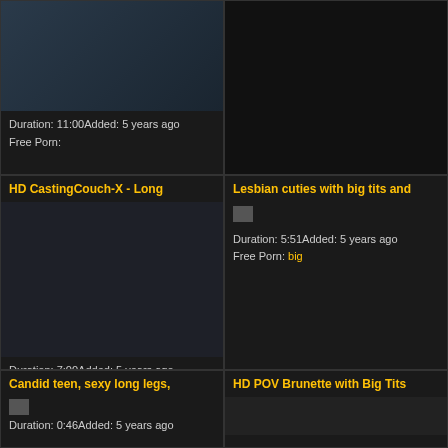[Figure (photo): Video thumbnail of woman in taxi cab]
Duration: 11:00Added: 5 years ago
Free Porn:
[Figure (photo): Black/dark right panel top]
HD CastingCouch-X - Long
[Figure (photo): Video thumbnail of woman on casting couch]
Duration: 7:00Added: 5 years ago
Free Porn:
Lesbian cuties with big tits and
[Figure (photo): Small thumbnail image]
Duration: 5:51Added: 5 years ago
Free Porn: big
Candid teen, sexy long legs,
[Figure (photo): Small thumbnail image]
Duration: 0:46Added: 5 years ago
HD POV Brunette with Big Tits
[Figure (photo): Video thumbnail bottom right]